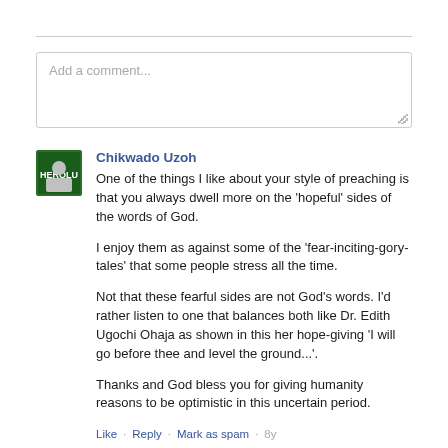Add a comment...
Chikwado Uzoh
One of the things I like about your style of preaching is that you always dwell more on the 'hopeful' sides of the words of God.

I enjoy them as against some of the 'fear-inciting-gory-tales' that some people stress all the time.

Not that these fearful sides are not God's words. I'd rather listen to one that balances both like Dr. Edith Ugochi Ohaja as shown in this her hope-giving 'I will go before thee and level the ground...'.

Thanks and God bless you for giving humanity reasons to be optimistic in this uncertain period.
Like · Reply · Mark as spam · 8y